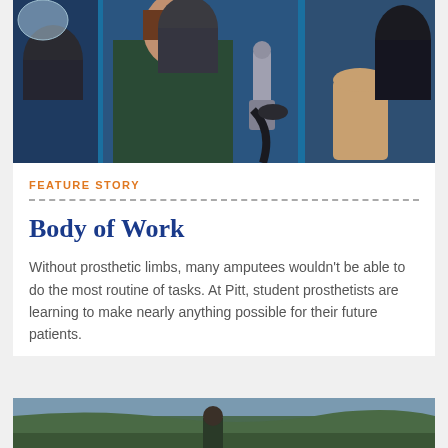[Figure (photo): A woman in a dark green shirt holding prosthetic limbs in a lab or storage area with blue shelving and various prosthetic arms and legs.]
FEATURE STORY
Body of Work
Without prosthetic limbs, many amputees wouldn't be able to do the most routine of tasks. At Pitt, student prosthetists are learning to make nearly anything possible for their future patients.
[Figure (photo): Partial photo at bottom of page showing an outdoor scene, partially visible.]